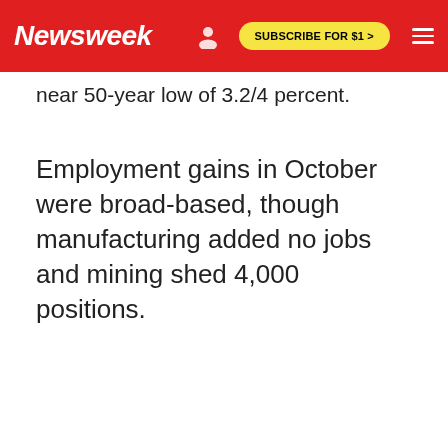Newsweek | SUBSCRIBE FOR $1 >
near 50-year low of 3.2/4 percent.
Employment gains in October were broad-based, though manufacturing added no jobs and mining shed 4,000 positions.